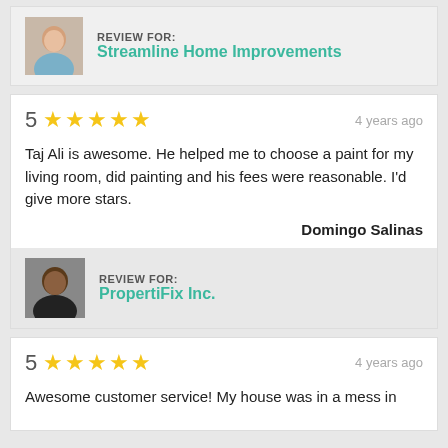REVIEW FOR:
Streamline Home Improvements
5 ★★★★★   4 years ago
Taj Ali is awesome. He helped me to choose a paint for my living room, did painting and his fees were reasonable. I'd give more stars.
Domingo Salinas
REVIEW FOR:
PropertiFix Inc.
5 ★★★★★   4 years ago
Awesome customer service! My house was in a mess in